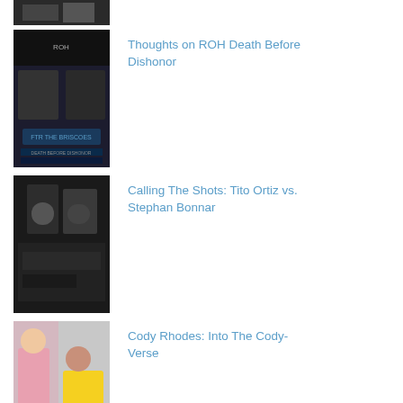[Figure (photo): Partial thumbnail at top, dark image cropped]
Thoughts on ROH Death Before Dishonor
[Figure (photo): ROH Death Before Dishonor event poster with FTR vs The Briscoes]
Calling The Shots: Tito Ortiz vs. Stephan Bonnar
[Figure (photo): Dark photo of people in a hallway or corridor]
Cody Rhodes: Into The Cody-Verse
[Figure (photo): Cody Rhodes and a woman in a yellow dress at an event]
New WWE Intercontinental Title Belt Revealed
[Figure (photo): Close-up of the new WWE Intercontinental Championship belt]